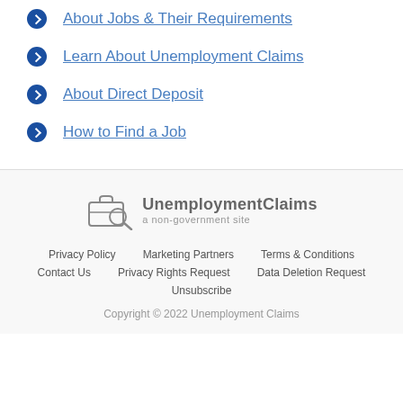About Jobs & Their Requirements
Learn About Unemployment Claims
About Direct Deposit
How to Find a Job
[Figure (logo): UnemploymentClaims logo with briefcase and magnifying glass icon, a non-government site]
Privacy Policy   Marketing Partners   Terms & Conditions   Contact Us   Privacy Rights Request   Data Deletion Request   Unsubscribe   Copyright © 2022 Unemployment Claims